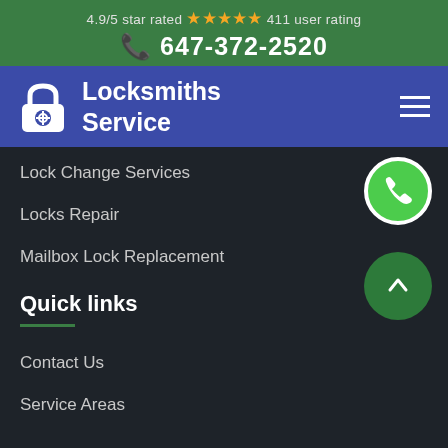4.9/5 star rated ★★★★★ 411 user rating
647-372-2520
Locksmiths Service
Lock Change Services
Locks Repair
Mailbox Lock Replacement
Quick links
Contact Us
Service Areas